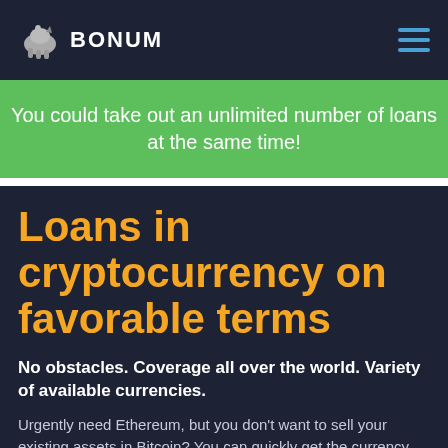BONUM
You could take out an unlimited number of loans at the same time!
Loans in cryptocurrency on favorable terms
No obstacles. Coverage all over the world. Variety of available currencies.
Urgently need Ethereum, but you don't want to sell your existing assets in Bitcoin? You can quickly get the currency you need without selling your actives! Buying bitcoin in the